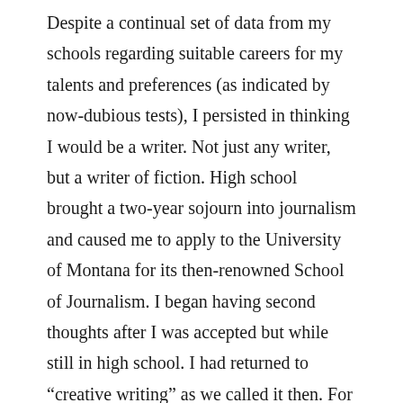Despite a continual set of data from my schools regarding suitable careers for my talents and preferences (as indicated by now-dubious tests), I persisted in thinking I would be a writer. Not just any writer, but a writer of fiction. High school brought a two-year sojourn into journalism and caused me to apply to the University of Montana for its then-renowned School of Journalism. I began having second thoughts after I was accepted but while still in high school. I had returned to “creative writing” as we called it then. For reasons that will be detailed elsewhere, I spent my entire freshman year of college without ever entering the School of Journalism either academically or physically (to the best of my recollection). With no idea what I really wanted to do–where was my drive to be a writer then?–I